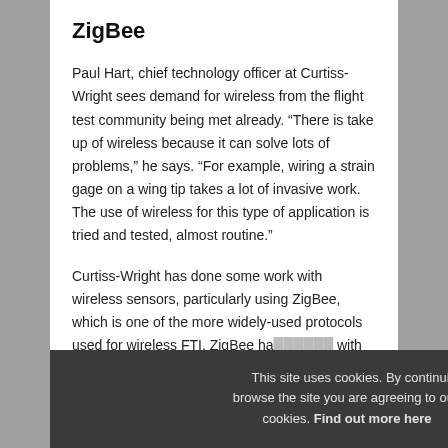ZigBee
Paul Hart, chief technology officer at Curtiss-Wright sees demand for wireless from the flight test community being met already. “There is take up of wireless because it can solve lots of problems,” he says. “For example, wiring a strain gage on a wing tip takes a lot of invasive work. The use of wireless for this type of application is tried and tested, almost routine.”
Curtiss-Wright has done some work with wireless sensors, particularly using ZigBee, which is one of the more widely-used protocols used for wireless FTI. ZigBee ha… with rotating machiner… like helico… acquisitio…
This site uses cookies. By continuing to browse the site you are agreeing to our use of cookies. Find out more here    [X]